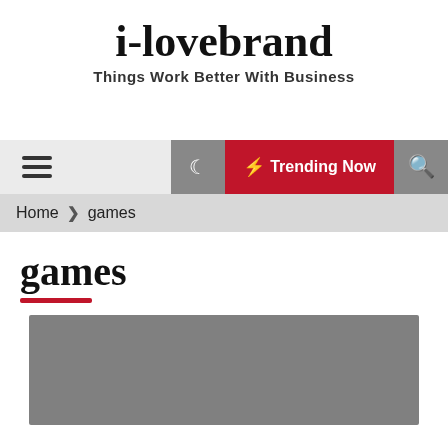i-lovebrand
Things Work Better With Business
Navigation bar with hamburger menu, moon icon, Trending Now button, and search icon
Home > games
games
[Figure (photo): Gray placeholder image rectangle]